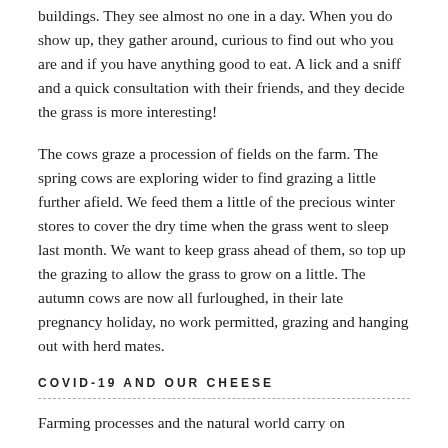buildings. They see almost no one in a day. When you do show up, they gather around, curious to find out who you are and if you have anything good to eat. A lick and a sniff and a quick consultation with their friends, and they decide the grass is more interesting!
The cows graze a procession of fields on the farm. The spring cows are exploring wider to find grazing a little further afield. We feed them a little of the precious winter stores to cover the dry time when the grass went to sleep last month. We want to keep grass ahead of them, so top up the grazing to allow the grass to grow on a little. The autumn cows are now all furloughed, in their late pregnancy holiday, no work permitted, grazing and hanging out with herd mates.
COVID-19 AND OUR CHEESE
Farming processes and the natural world carry on